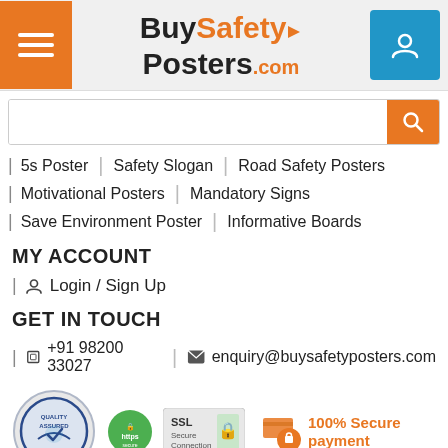[Figure (logo): BuySafetyPosters.com website header with hamburger menu, logo, and account button]
5s Poster | Safety Slogan | Road Safety Posters
Motivational Posters | Mandatory Signs
Save Environment Poster | Informative Boards
MY ACCOUNT
Login / Sign Up
GET IN TOUCH
+91 98200 33027 | enquiry@buysafetyposters.com
[Figure (logo): ISO 9001:2015 Certified badge, HTTPS/SSL Secure Connection badge, 100% Secure payment badge]